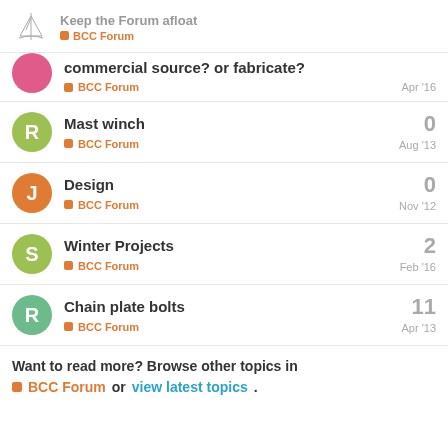Keep the Forum afloat — BCC Forum
commercial source? or fabricate? — BCC Forum — Apr '16
Mast winch — BCC Forum — Aug '13 — 0 replies
Design — BCC Forum — Nov '12 — 0 replies
Winter Projects — BCC Forum — Feb '16 — 2 replies
Chain plate bolts — BCC Forum — Apr '13 — 11 replies
Want to read more? Browse other topics in BCC Forum or view latest topics.